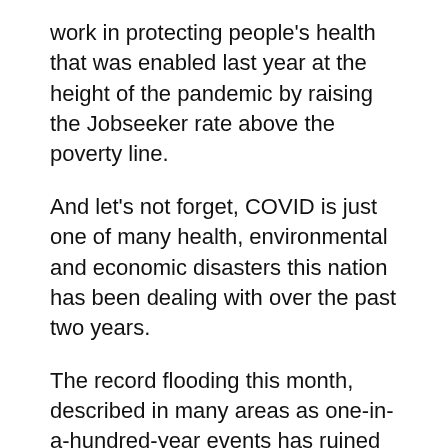work in protecting people's health that was enabled last year at the height of the pandemic by raising the Jobseeker rate above the poverty line.
And let's not forget, COVID is just one of many health, environmental and economic disasters this nation has been dealing with over the past two years.
The record flooding this month, described in many areas as one-in-a-hundred-year events has ruined many lives and will take the hardest-hit communities years to recover from.
Some of those same communities were still rebuilding from the devastating Black Summer bushfires of just over twelve months ago, which